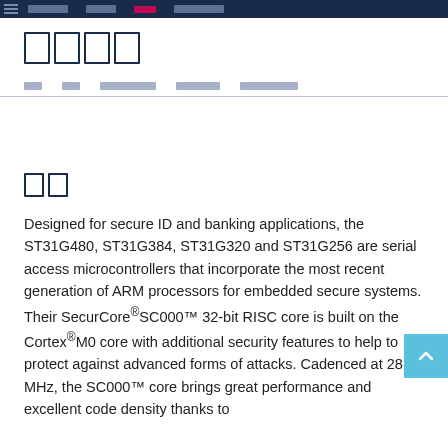[navigation bar with logo and menu links]
□□□□
□□ □□ □□□□□□□ □□□□□ □□□□□□□
□□
Designed for secure ID and banking applications, the ST31G480, ST31G384, ST31G320 and ST31G256 are serial access microcontrollers that incorporate the most recent generation of ARM processors for embedded secure systems. Their SecurCore®SC000™ 32-bit RISC core is built on the Cortex®M0 core with additional security features to help to protect against advanced forms of attacks. Cadenced at 28 MHz, the SC000™ core brings great performance and excellent code density thanks to